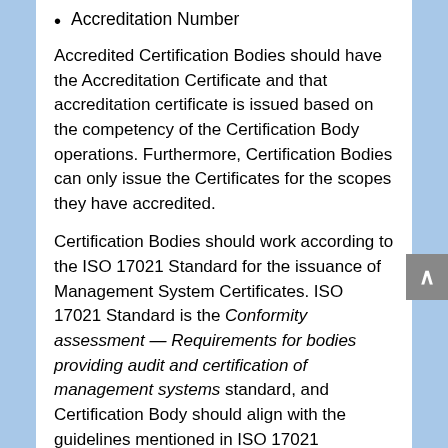Accreditation Number
Accredited Certification Bodies should have the Accreditation Certificate and that accreditation certificate is issued based on the competency of the Certification Body operations. Furthermore, Certification Bodies can only issue the Certificates for the scopes they have accredited.
Certification Bodies should work according to the ISO 17021 Standard for the issuance of Management System Certificates. ISO 17021 Standard is the Conformity assessment — Requirements for bodies providing audit and certification of management systems standard, and Certification Body should align with the guidelines mentioned in ISO 17021 Standard.
Certification Body details must be available on the respected Accreditation Body website and Accreditation